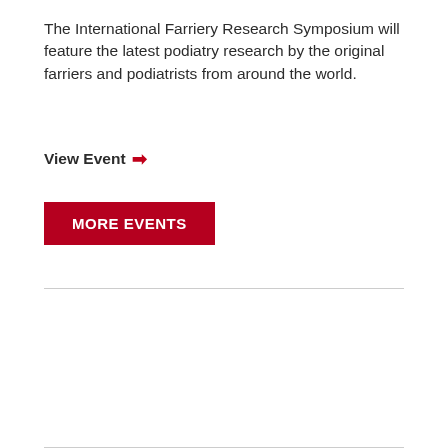The International Farriery Research Symposium will feature the latest podiatry research by the original farriers and podiatrists from around the world.
View Event →
MORE EVENTS